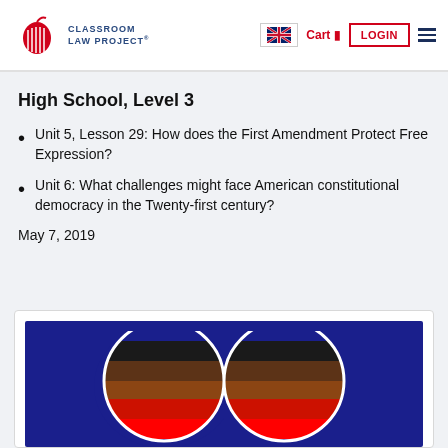CLASSROOM LAW PROJECT
High School, Level 3
Unit 5, Lesson 29: How does the First Amendment Protect Free Expression?
Unit 6: What challenges might face American constitutional democracy in the Twenty-first century?
May 7, 2019
[Figure (photo): Colorful heart-shaped illustration with horizontal stripes in black, brown, dark brown, and red on a dark navy blue background. Two heart halves visible side by side.]